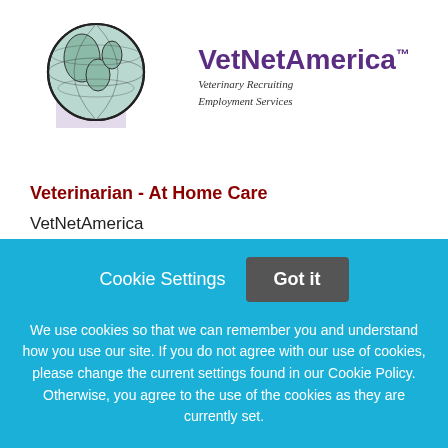[Figure (logo): VetNetAmerica logo with globe illustration and text 'Veterinary Recruiting Employment Services']
Veterinarian - At Home Care
VetNetAmerica
San Diego, California
Cookie Settings  Got it
We use cookies so that we can remember you and understand how you use our site. If you do not agree with our use of cookies, please change the current settings found in our Cookie Policy. Otherwise, you agree to the use of the cookies as they are currently set.